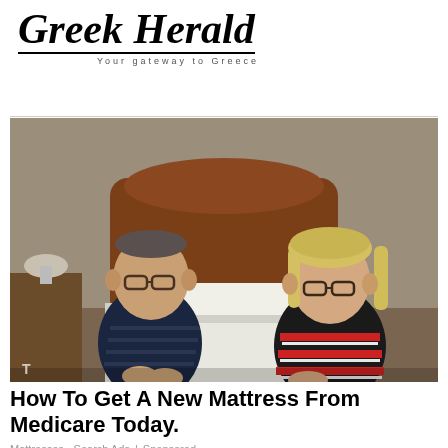Greek Herald
Your gateway to Greece
[Figure (photo): Two elderly people, a man and a woman, sitting on opposite sides of a bed in a bedroom. The man on the left wears glasses and a dark striped polo shirt. The woman on the right has blonde hair and glasses and wears a striped top. There is a wooden headboard behind them and a lamp on a nightstand to the left.]
How To Get A New Mattress From Medicare Today.
Mattresses - Search Ads | Sponsored